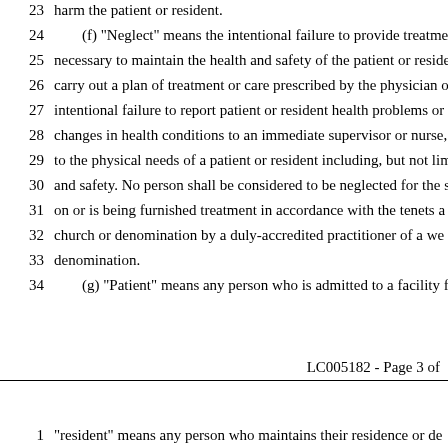23    harm the patient or resident.
24        (f) "Neglect" means the intentional failure to provide treatment
25    necessary to maintain the health and safety of the patient or reside
26    carry out a plan of treatment or care prescribed by the physician o
27    intentional failure to report patient or resident health problems or
28    changes in health conditions to an immediate supervisor or nurse,
29    to the physical needs of a patient or resident including, but not li
30    and safety. No person shall be considered to be neglected for the s
31    on or is being furnished treatment in accordance with the tenets a
32    church or denomination by a duly-accredited practitioner of a we
33    denomination.
34        (g) "Patient" means any person who is admitted to a facility fo
LC005182 - Page 3 of
1    "resident" means any person who maintains their residence or de